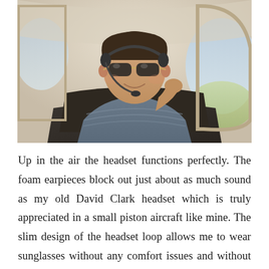[Figure (photo): A young man wearing aviator sunglasses and a pilot headset with microphone, smiling while seated in the cockpit of a small single-engine aircraft. He is wearing a blue and grey striped polo shirt. The view through the cockpit windows shows a landscape below and a bright sky.]
Up in the air the headset functions perfectly. The foam earpieces block out just about as much sound as my old David Clark headset which is truly appreciated in a small piston aircraft like mine. The slim design of the headset loop allows me to wear sunglasses without any comfort issues and without interfering in the operation of the device. And the light weight of the overall design means that even after a full day of flying I don't feel any